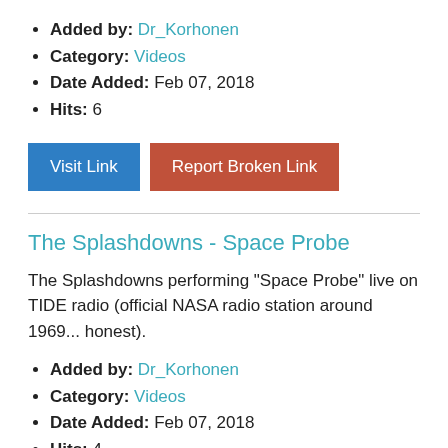Added by: Dr_Korhonen
Category: Videos
Date Added: Feb 07, 2018
Hits: 6
Visit Link | Report Broken Link
The Splashdowns - Space Probe
The Splashdowns performing "Space Probe" live on TIDE radio (official NASA radio station around 1969... honest).
Added by: Dr_Korhonen
Category: Videos
Date Added: Feb 07, 2018
Hits: 4